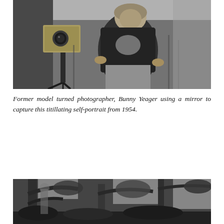[Figure (photo): Black and white photograph of Bunny Yeager, a former model turned photographer, posing next to a large format camera on a tripod in an outdoor setting with wild vegetation in the background. She is leaning forward beside the camera.]
Former model turned photographer, Bunny Yeager using a mirror to capture this titillating self-portrait from 1954.
[Figure (photo): Black and white photograph showing a person partially visible among trees and foliage, bottom portion of the page.]